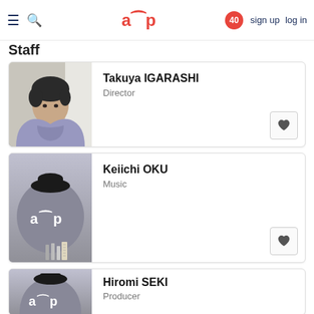≡ 🔍  aup  40  sign up  log in
Staff
[Figure (photo): Profile photo of Takuya IGARASHI, a man in a light purple hoodie]
Takuya IGARASHI
Director
[Figure (illustration): AUP logo placeholder avatar with hat, circle, and pencils for Keiichi OKU]
Keiichi OKU
Music
[Figure (illustration): AUP logo placeholder avatar with hat for Hiromi SEKI]
Hiromi SEKI
Producer